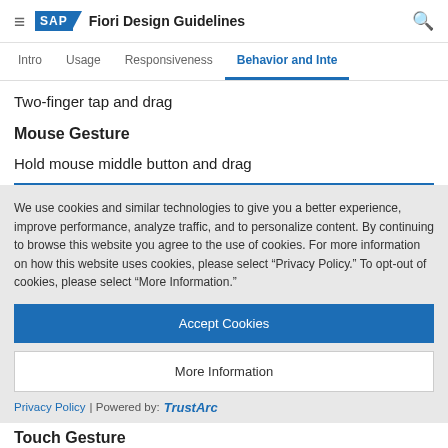SAP Fiori Design Guidelines
Behavior and Interaction
Two-finger tap and drag
Mouse Gesture
Hold mouse middle button and drag
We use cookies and similar technologies to give you a better experience, improve performance, analyze traffic, and to personalize content. By continuing to browse this website you agree to the use of cookies. For more information on how this website uses cookies, please select “Privacy Policy.” To opt-out of cookies, please select “More Information.”
Accept Cookies
More Information
Privacy Policy | Powered by: TrustArc
Touch Gesture